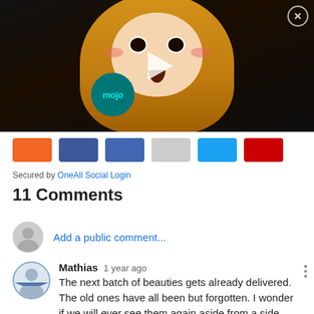[Figure (screenshot): Video thumbnail showing an anime character (girl with blonde hair and surprised expression) with a play button overlay and a 'mojo' logo badge. Close (X) button in top right corner.]
[Figure (screenshot): Social login sharing buttons row: orange, dark blue (Facebook), light blue (Twitter), gray, blue (LinkedIn), red (YouTube/other) buttons]
Secured by OneAll Social Login
11 Comments
Add a public comment...
Mathias  1 year ago
The next batch of beauties gets already delivered. The old ones have all been but forgotten. I wonder if we will ever see them again aside from a side mention. The author really has no loyality to the girls he himself created as goddess like beauties to boot.